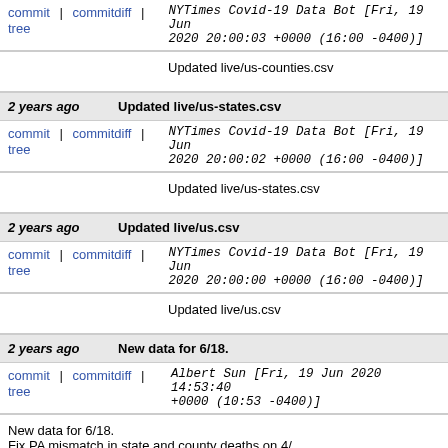commit | commitdiff | tree   NYTimes Covid-19 Data Bot [Fri, 19 Jun 2020 20:00:03 +0000 (16:00 -0400)]
Updated live/us-counties.csv
2 years ago   Updated live/us-states.csv
commit | commitdiff | tree   NYTimes Covid-19 Data Bot [Fri, 19 Jun 2020 20:00:02 +0000 (16:00 -0400)]
Updated live/us-states.csv
2 years ago   Updated live/us.csv
commit | commitdiff | tree   NYTimes Covid-19 Data Bot [Fri, 19 Jun 2020 20:00:00 +0000 (16:00 -0400)]
Updated live/us.csv
2 years ago   New data for 6/18.
commit | commitdiff | tree   Albert Sun [Fri, 19 Jun 2020 14:53:40 +0000 (10:53 -0400)]
New data for 6/18.
Fix PA mismatch in state and county deaths on 4/...